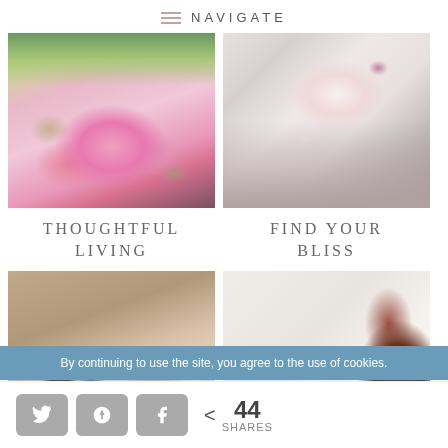NAVIGATE
[Figure (photo): Pink hydrangea flowers in a white bowl with green apples and a blue and white pitcher in the background]
[Figure (photo): Floral teacup and saucer on an open notebook with pink flower petals scattered around]
THOUGHTFUL LIVING
FIND YOUR BLISS
[Figure (photo): Candles and cream roses floating in water on a textured surface]
[Figure (photo): Vintage wooden mirror frame on a light background]
By continuing to use the site, you agree to the use of cookies.
< 44 SHARES